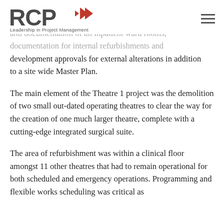RCP — Leadership in Project Management
Private hospital including Theatre 1 project, upgrade and documentation of all inpatient ward rooms, documentation for internal refurbishments and development approvals for external alterations in addition to a site wide Master Plan.
The main element of the Theatre 1 project was the demolition of two small out-dated operating theatres to clear the way for the creation of one much larger theatre, complete with a cutting-edge integrated surgical suite.
The area of refurbishment was within a clinical floor amongst 11 other theatres that had to remain operational for both scheduled and emergency operations. Programming and flexible works scheduling was critical as ...